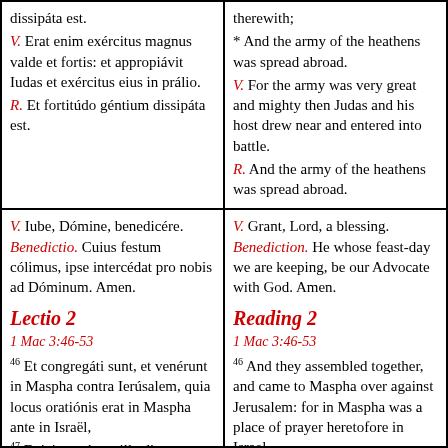dissipáta est.
V. Erat enim exércitus magnus valde et fortis: et appropiávit Iudas et exércitus eius in prálio.
R. Et fortitúdo géntium dissipáta est.
therewith;
* And the army of the heathens was spread abroad.
V. For the army was very great and mighty then Judas and his host drew near and entered into battle.
R. And the army of the heathens was spread abroad.
V. Iube, Dómine, benedicére.
Benedictio. Cuius festum cólimus, ipse intercédat pro nobis ad Dóminum. Amen.
Lectio 2
1 Mac 3:46-53
46 Et congregáti sunt, et venérunt in Maspha contra Ierúsalem, quia locus oratiónis erat in Maspha ante in Israël,
47 Et ieiunavérunt illa die, et induérunt se cilíciis, et címerem imposuérunt cápiti
V. Grant, Lord, a blessing.
Benediction. He whose feast-day we are keeping, be our Advocate with God. Amen.
Reading 2
1 Mac 3:46-53
46 And they assembled together, and came to Maspha over against Jerusalem: for in Maspha was a place of prayer heretofore in Israel.
47 And they fasted that day, and put on haircloth, and put ashes upon their heads: and